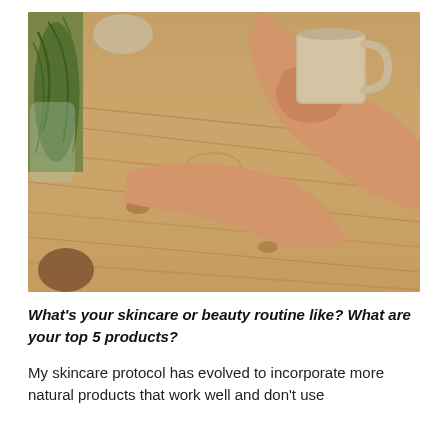[Figure (photo): A person's hands resting on a rustic wooden table, holding a beige ceramic mug. A glass vase with green plant stems is visible at the left edge, and a small round stone or object is in the upper left background. The wooden table surface has natural grain and knots visible.]
What's your skincare or beauty routine like? What are your top 5 products?
My skincare protocol has evolved to incorporate more natural products that work well and don't use